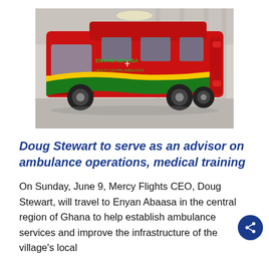[Figure (photo): A red ambulance van labeled 'ENYAN ABAASA Health Centre Ambulance' with green and yellow stripe along the side, parked inside a warehouse or garage.]
Doug Stewart to serve as an advisor on ambulance operations, medical training
On Sunday, June 9, Mercy Flights CEO, Doug Stewart, will travel to Enyan Abaasa in the central region of Ghana to help establish ambulance services and improve the infrastructure of the village's local